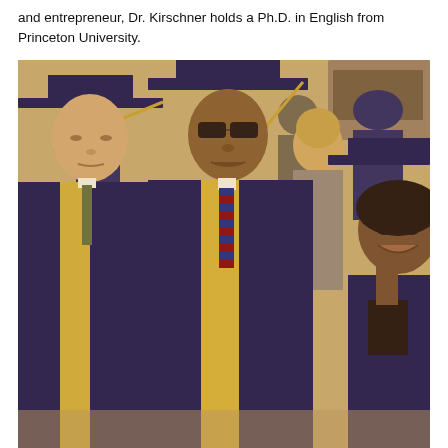and entrepreneur, Dr. Kirschner holds a Ph.D. in English from Princeton University.
[Figure (photo): A sepia-toned photograph of several graduates in navy blue caps and gowns with gold sashes, walking in a graduation procession. Three main graduates are visible in the foreground, with additional people visible in the background.]